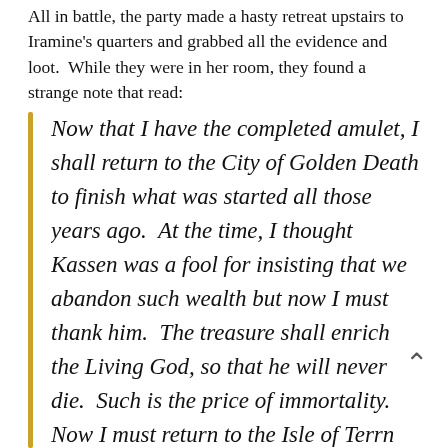All in battle, the party made a hasty retreat upstairs to Iramine's quarters and grabbed all the evidence and loot. While they were in her room, they found a strange note that read:
Now that I have the completed amulet, I shall return to the City of Golden Death to finish what was started all those years ago. At the time, I thought Kassen was a fool for insisting that we abandon such wealth but now I must thank him. The treasure shall enrich the Living God, so that he will never die. Such is the price of immortality. Now I must return to the Isle of Terror and I cannot